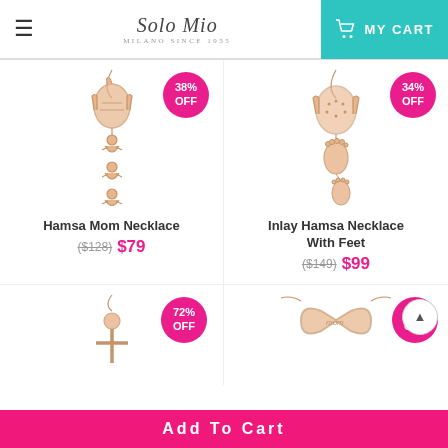Solo Mio Milano Since 1955 | MY CART
[Figure (photo): Hamsa Mom Necklace product image with 38% OFF badge]
Hamsa Mom Necklace
($128) $79
[Figure (photo): Inlay Hamsa Necklace With Feet product image with 34% OFF badge]
Inlay Hamsa Necklace With Feet
($149) $99
[Figure (photo): Third necklace product image with 72% OFF badge]
[Figure (photo): Fourth necklace product image with partial 6x% OFF badge]
Add To Cart